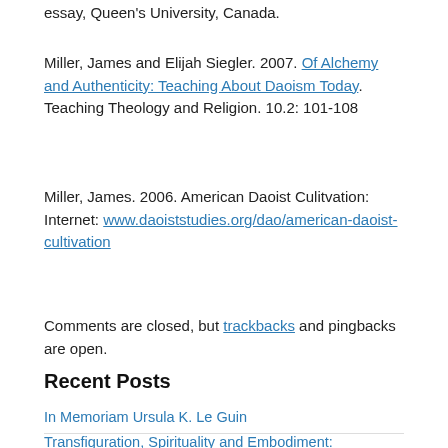essay, Queen's University, Canada.
Miller, James and Elijah Siegler. 2007. Of Alchemy and Authenticity: Teaching About Daoism Today. Teaching Theology and Religion. 10.2: 101-108
Miller, James. 2006. American Daoist Culitvation: Internet: www.daoiststudies.org/dao/american-daoist-cultivation
Comments are closed, but trackbacks and pingbacks are open.
Recent Posts
In Memoriam Ursula K. Le Guin
Transfiguration, Spirituality and Embodiment: Perspectives from Christian and Daoist Scriptures